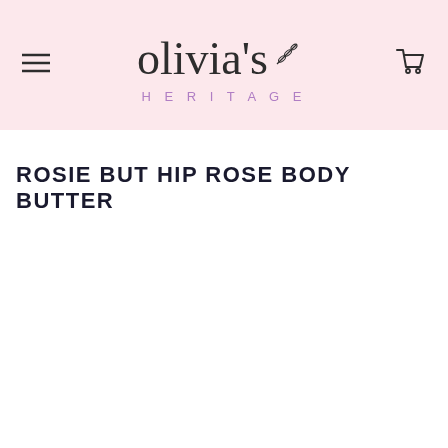olivia's HERITAGE
ROSIE BUT HIP ROSE BODY BUTTER